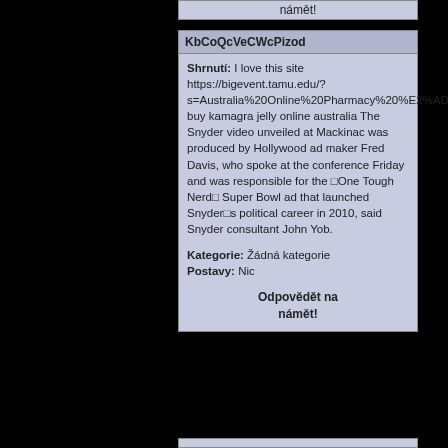námět!
KbCoQcVeCWcPizod
Shrnutí: I love this site https://bigevent.tamu.edu/?s=Australia%20Online%20Pharmacy%20%E2%AD%90%20%20Buy%20Kamagra%20Jelly%20Online%20Australia buy kamagra jelly online australia The Snyder video unveiled at Mackinac was produced by Hollywood ad maker Fred Davis, who spoke at the conference Friday and was responsible for the ⊡One Tough Nerd⊡ Super Bowl ad that launched Snyder⊡s political career in 2010, said Snyder consultant John Yob.
Kategorie: Žádná kategorie
Postavy: Nic
Odpovědět na námět!